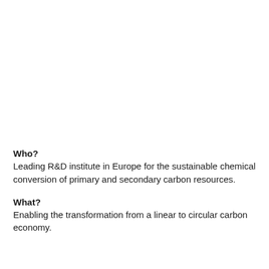Who?
Leading R&D institute in Europe for the sustainable chemical conversion of primary and secondary carbon resources.
What?
Enabling the transformation from a linear to circular carbon economy.